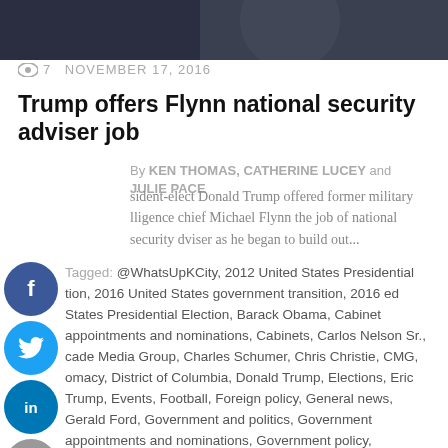[Figure (photo): Dark photo bar at top of article, appears to show a person in dark lighting]
7    NOVEMBER 17, 2016
Trump offers Flynn national security adviser job
By KEN THOMAS, CATHERINE LUCEY and JULIE PACE
...sident-elect Donald Trump offered former military lliligence chief Michael Flynn the job of national security tviser as he began to build out...
Tagged: @WhatsUpKCity, 2012 United States Presidential tion, 2016 United States government transition, 2016 ed States Presidential Election, Barack Obama, Cabinet appointments and nominations, Cabinets, Carlos Nelson Sr., cade Media Group, Charles Schumer, Chris Christie, CMG, omacy, District of Columbia, Donald Trump, Elections, Eric Trump, Events, Football, Foreign policy, General news, Gerald Ford, Government and politics, Government appointments and nominations, Government policy, Government transitions, Henry Kissinger, Hillary Clinton, https://whatsupkansascity.net/, Instagram@ cascademediagroup, Instagram@ whatsupkansascity, Intelligence agencies, International